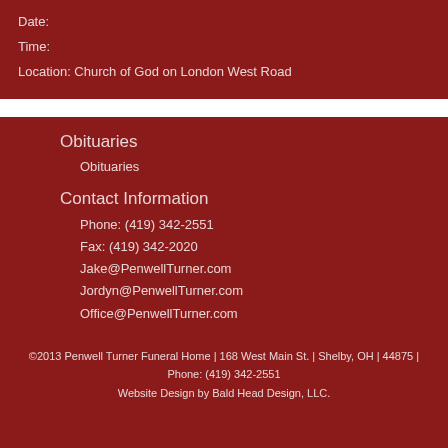Date:
Time:
Location: Church of God on London West Road
Obituaries
Obituaries
Contact Information
Phone: (419) 342-2551
Fax: (419) 342-2020
Jake@PenwellTurner.com
Jordyn@PenwellTurner.com
Office@PenwellTurner.com
©2013 Penwell Turner Funeral Home | 168 West Main St. | Shelby, OH | 44875 | Phone: (419) 342-2551
Website Design by Bald Head Design, LLC.